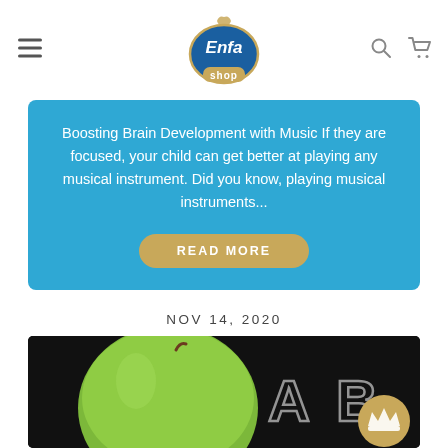Enfa shop logo with hamburger menu, search and cart icons
Boosting Brain Development with Music If they are focused, your child can get better at playing any musical instrument. Did you know, playing musical instruments...
READ MORE
NOV 14, 2020
[Figure (photo): Green apple on a dark black chalkboard background with chalk letters A B C partially visible, and a gold crown badge in the lower right]